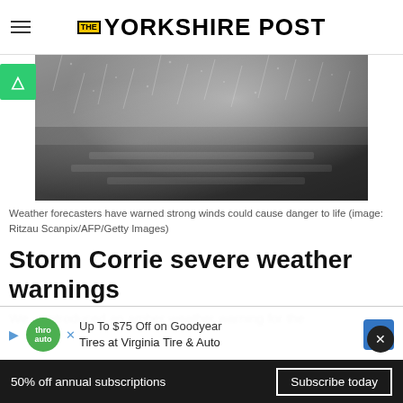THE YORKSHIRE POST
[Figure (photo): Close-up photo of a storm — heavy rain and wind hitting a dark surface, with spray and water droplets visible in grainy monochrome]
Weather forecasters have warned strong winds could cause danger to life (image: Ritzau Scanpix/AFP/Getty Images)
Storm Corrie severe weather warnings
We... introduced an amber weather warning for the
[Figure (screenshot): Advertisement banner: Up To $75 Off on Goodyear Tires at Virginia Tire & Auto]
50% off annual subscriptions  Subscribe today